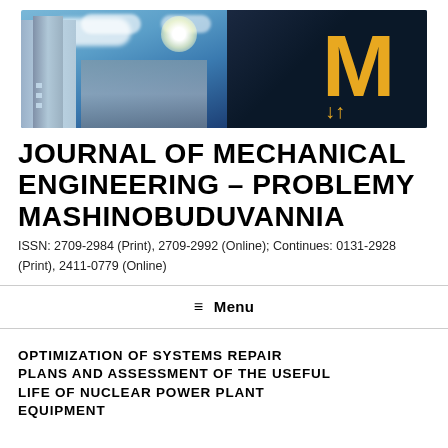[Figure (illustration): Journal header banner image showing a tall building/tower on the left, industrial facilities in the center, blue sky with clouds, and a large gold/yellow stylized 'M' logo with arrows on the right side against a dark blue background.]
JOURNAL OF MECHANICAL ENGINEERING – PROBLEMY MASHINOBUDUVANNIA
ISSN: 2709-2984 (Print), 2709-2992 (Online); Continues: 0131-2928 (Print), 2411-0779 (Online)
≡ Menu
OPTIMIZATION OF SYSTEMS REPAIR PLANS AND ASSESSMENT OF THE USEFUL LIFE OF NUCLEAR POWER PLANT EQUIPMENT